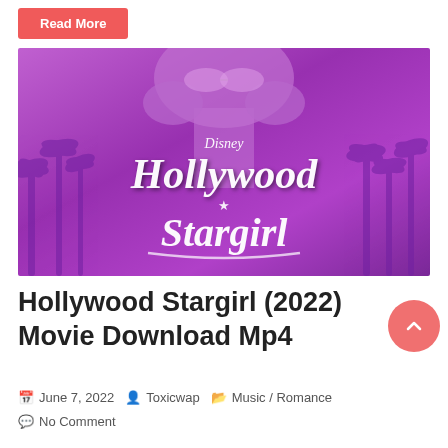Read More
[Figure (photo): Disney Hollywood Stargirl (2022) movie poster with purple/magenta tones, showing a girl with sunglasses holding her face, palm trees in the background, with Disney logo and Hollywood Stargirl script text]
Hollywood Stargirl (2022) Movie Download Mp4
June 7, 2022  Toxicwap  Music / Romance
No Comment